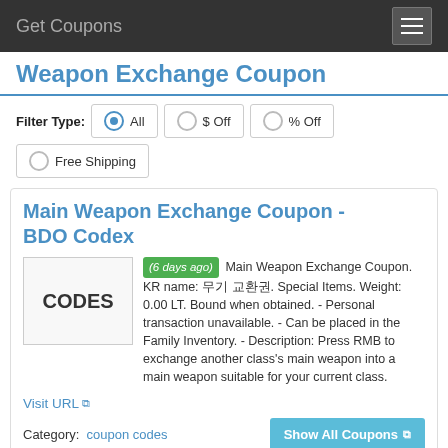Get Coupons
Weapon Exchange Coupon
Filter Type: All  $ Off  % Off  Free Shipping
Main Weapon Exchange Coupon - BDO Codex
(6 days ago) Main Weapon Exchange Coupon. KR name: 무기 교환권. Special Items. Weight: 0.00 LT. Bound when obtained. - Personal transaction unavailable. - Can be placed in the Family Inventory. - Description: Press RMB to exchange another class's main weapon into a main weapon suitable for your current class.
Visit URL
Category: coupon codes